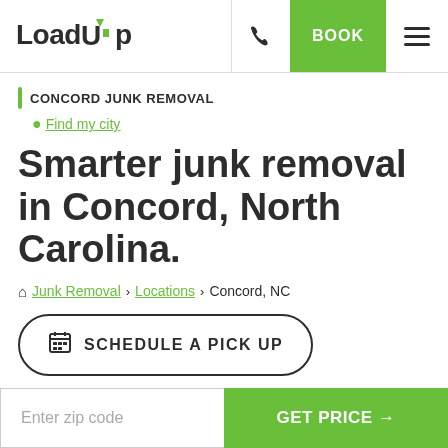LoadUp | BOOK
CONCORD JUNK REMOVAL
Find my city
Smarter junk removal in Concord, North Carolina.
Junk Removal > Locations > Concord, NC
SCHEDULE A PICK UP
Enter zip code
GET PRICE →